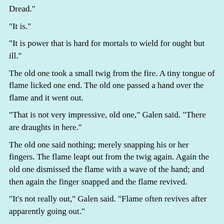Dread."
"It is."
"It is power that is hard for mortals to wield for ought but ill."
The old one took a small twig from the fire. A tiny tongue of flame licked one end. The old one passed a hand over the flame and it went out.
"That is not very impressive, old one," Galen said. "There are draughts in here."
The old one said nothing; merely snapping his or her fingers. The flame leapt out from the twig again. Again the old one dismissed the flame with a wave of the hand; and then again the finger snapped and the flame revived.
"It's not really out," Galen said. "Flame often revives after apparently going out."
The old one ignored him. "You could be taught," the old one said to Jena. "You will be offered this in Askar. Sorcery is a common tool among Askans."
"My lords," Marth said suddenly. "The attack on Narvon! They moved through the dawn in an unnatural sea mist and caught you all napping."